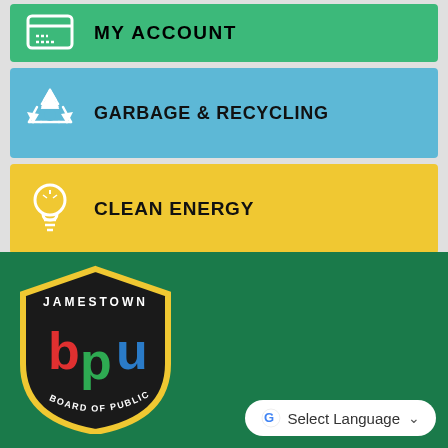[Figure (screenshot): MY ACCOUNT menu row with green background and account card icon]
[Figure (screenshot): GARBAGE & RECYCLING menu row with blue background and recycling icon]
[Figure (screenshot): CLEAN ENERGY menu row with yellow background and light bulb icon]
[Figure (logo): Jamestown Board of Public Utilities shield logo with BPU letters in red, green, and blue]
Select Language